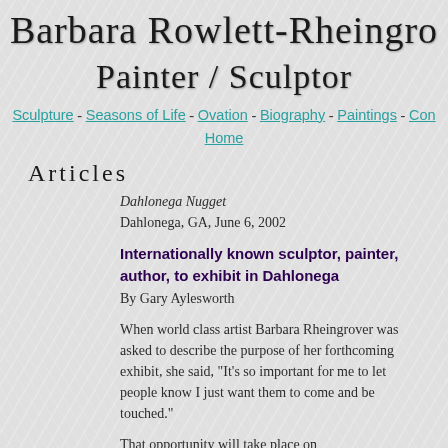Barbara Rowlett-Rheingro... Painter / Sculptor
Sculpture - Seasons of Life - Ovation - Biography - Paintings - Con... Home
Articles
Dahlonega Nugget Dahlonega, GA, June 6, 2002
Internationally known sculptor, painter, author, to exhibit in Dahlonega
By Gary Aylesworth
When world class artist Barbara Rheingrover was asked to describe the purpose of her forthcoming exhibit, she said, "It's so important for me to let people know I just want them to come and be touched."
That opportunity will take place on...